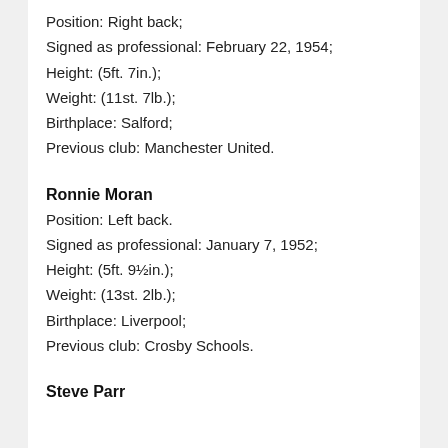Position: Right back;
Signed as professional: February 22, 1954;
Height: (5ft. 7in.);
Weight: (11st. 7lb.);
Birthplace: Salford;
Previous club: Manchester United.
Ronnie Moran
Position: Left back.
Signed as professional: January 7, 1952;
Height: (5ft. 9½in.);
Weight: (13st. 2lb.);
Birthplace: Liverpool;
Previous club: Crosby Schools.
Steve Parr